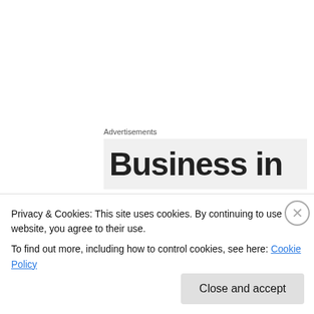Advertisements
[Figure (other): Advertisement banner showing partial text 'Business in' in large bold font on a light gray background]
Mark Kertesz Photography on June 21, 2014 at 12:19 pm
Hi Helen, thank you for stoping by my blog and deciding to follow, it's always nice to have someone take the time to look around. This is a
Privacy & Cookies: This site uses cookies. By continuing to use this website, you agree to their use.
To find out more, including how to control cookies, see here: Cookie Policy
Close and accept